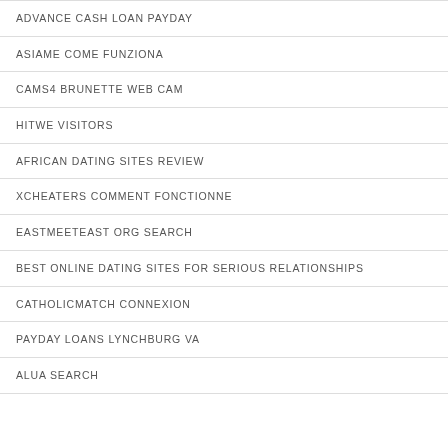ADVANCE CASH LOAN PAYDAY
ASIAME COME FUNZIONA
CAMS4 BRUNETTE WEB CAM
HITWE VISITORS
AFRICAN DATING SITES REVIEW
XCHEATERS COMMENT FONCTIONNE
EASTMEETEAST ORG SEARCH
BEST ONLINE DATING SITES FOR SERIOUS RELATIONSHIPS
CATHOLICMATCH CONNEXION
PAYDAY LOANS LYNCHBURG VA
ALUA SEARCH